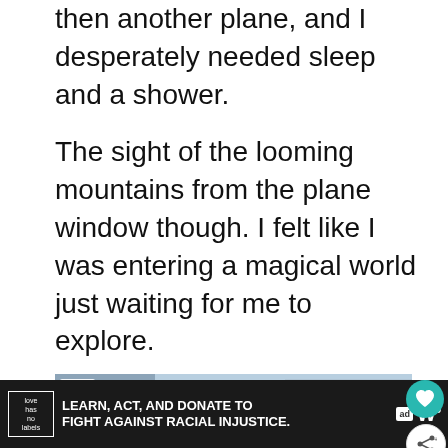then another plane, and I desperately needed sleep and a shower.
The sight of the looming mountains from the plane window though. I felt like I was entering a magical world just waiting for me to explore.
[Figure (photo): Advertisement image showing two children holding colorful balloons (Mickey Mouse shaped balloons) in front of large resort hotel buildings, with trees and blue sky in background. Ad label in top-left corner.]
LEARN, ACT, AND DONATE TO FIGHT AGAINST RACIAL INJUSTICE.